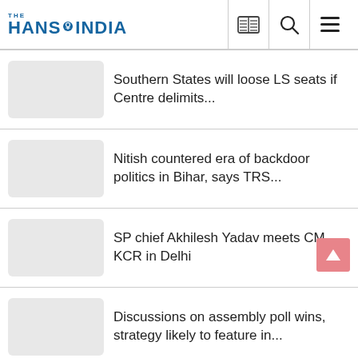THE HANS INDIA
Southern States will loose LS seats if Centre delimits...
Nitish countered era of backdoor politics in Bihar, says TRS...
SP chief Akhilesh Yadav meets CM KCR in Delhi
Discussions on assembly poll wins, strategy likely to feature in...
TRS...